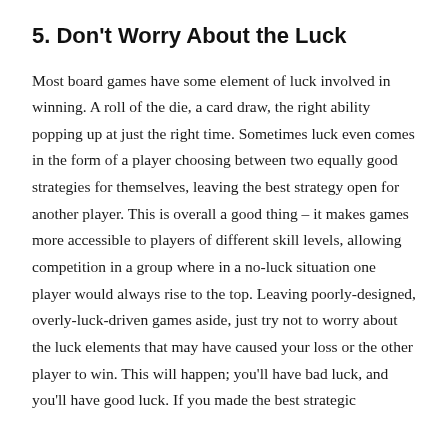5. Don't Worry About the Luck
Most board games have some element of luck involved in winning. A roll of the die, a card draw, the right ability popping up at just the right time. Sometimes luck even comes in the form of a player choosing between two equally good strategies for themselves, leaving the best strategy open for another player. This is overall a good thing – it makes games more accessible to players of different skill levels, allowing competition in a group where in a no-luck situation one player would always rise to the top. Leaving poorly-designed, overly-luck-driven games aside, just try not to worry about the luck elements that may have caused your loss or the other player to win. This will happen; you'll have bad luck, and you'll have good luck. If you made the best strategic